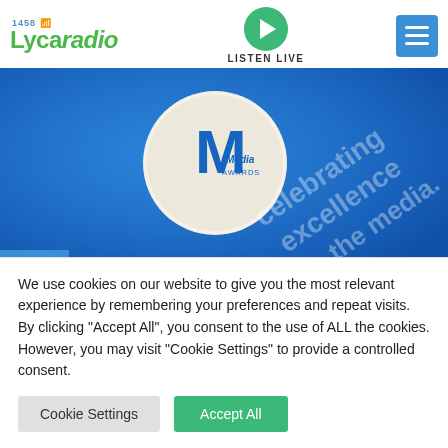Lyca Radio 1458 — LISTEN LIVE
[Figure (photo): Blue Media Awards plaque/book showing a circular M logo and text 'celebrating excellence in the media.' with a blue background, and a NEWS tag overlay in the lower left.]
Lyca Radio bags three Asian Media
We use cookies on our website to give you the most relevant experience by remembering your preferences and repeat visits. By clicking "Accept All", you consent to the use of ALL the cookies. However, you may visit "Cookie Settings" to provide a controlled consent.
Cookie Settings   Accept All